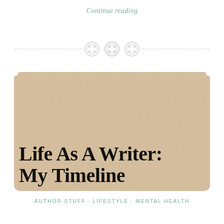Continue reading
[Figure (illustration): Decorative divider with three button-like circular icons on a dashed horizontal line]
[Figure (photo): Photo of crumpled and layered old newspaper/book pages with text overlaid reading 'Life As A Writer: My Timeline' in large bold serif font, styled as a ticket with notched corners]
AUTHOR STUFF · LIFESTYLE · MENTAL HEALTH